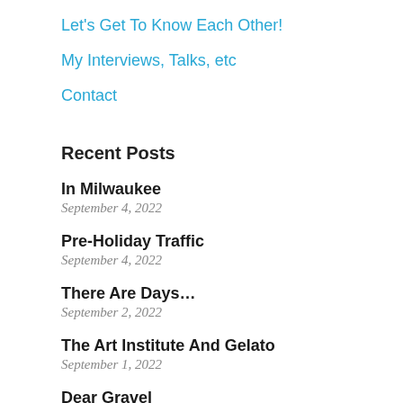Let's Get To Know Each Other!
My Interviews, Talks, etc
Contact
Recent Posts
In Milwaukee
September 4, 2022
Pre-Holiday Traffic
September 4, 2022
There Are Days…
September 2, 2022
The Art Institute And Gelato
September 1, 2022
Dear Gravel